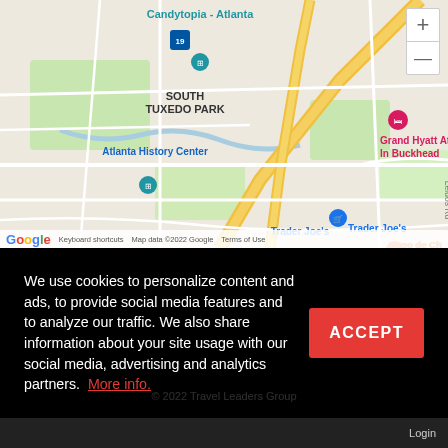[Figure (map): Google Maps screenshot showing Buckhead area of Atlanta, Georgia. Visible landmarks include Atlanta History Center, South Tuxedo Park, Candytopia - Atlanta, Grand Hyatt Atlanta In Buckhead, Trader Joe's, Fogo de Chao Brazilian Steakhouse, Buckhead Village, Peachtree Heights West. Map data ©2022 Google.]
We use cookies to personalize content and ads, to provide social media features and to analyze our traffic. We also share information about your site usage with our social media, advertising and analytics partners. More info.
ACCEPT
Login